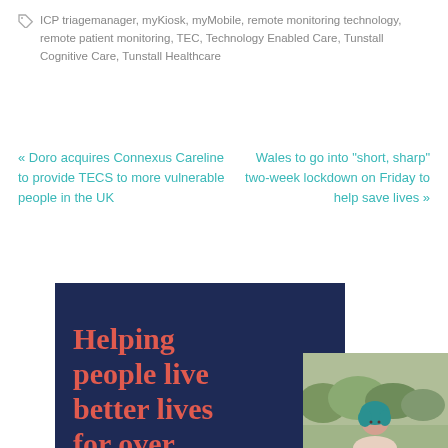ICP triagemanager, myKiosk, myMobile, remote monitoring technology, remote patient monitoring, TEC, Technology Enabled Care, Tunstall Cognitive Care, Tunstall Healthcare
« Doro acquires Connexus Careline to provide TECS to more vulnerable people in the UK
Wales to go into "short, sharp" two-week lockdown on Friday to help save lives »
[Figure (illustration): Dark navy blue promotional banner with coral/red bold serif text reading 'Helping people live better lives for over' with a partially visible outdoor photo of a person with teal hair on the right side]